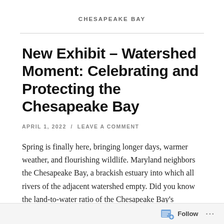CHESAPEAKE BAY
New Exhibit – Watershed Moment: Celebrating and Protecting the Chesapeake Bay
APRIL 1, 2022 / LEAVE A COMMENT
Spring is finally here, bringing longer days, warmer weather, and flourishing wildlife. Maryland neighbors the Chesapeake Bay, a brackish estuary into which all rivers of the adjacent watershed empty. Did you know the land-to-water ratio of the Chesapeake Bay's